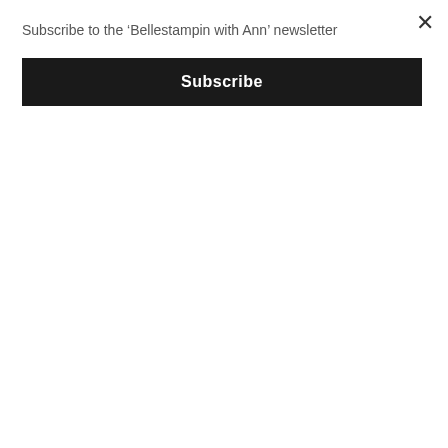Subscribe to the ‘Bellestampin with Ann’ newsletter
Subscribe
[Figure (illustration): Crafting Design Team banner with watercolor splashes in purple, green, and pink behind large outlined text reading CRAFTING with DESIGN TEAM below]
[Figure (illustration): Ink and Inspiration Design Team Member banner with watercolor background in pink, yellow, peach tones and geometric star shapes, large italic text reading Ink & Inspiration with DESIGN TEAM MEMBER below]